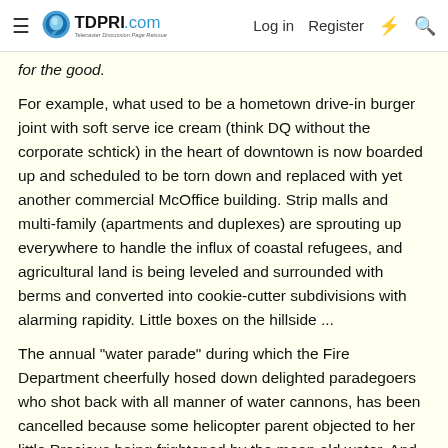TDPRI.com — Telecaster Discussion Page Reissue | Log in | Register
for the good.
For example, what used to be a hometown drive-in burger joint with soft serve ice cream (think DQ without the corporate schtick) in the heart of downtown is now boarded up and scheduled to be torn down and replaced with yet another commercial McOffice building. Strip malls and multi-family (apartments and duplexes) are sprouting up everywhere to handle the influx of coastal refugees, and agricultural land is being leveled and surrounded with berms and converted into cookie-cutter subdivisions with alarming rapidity. Little boxes on the hillside ...
The annual "water parade" during which the Fire Department cheerfully hosed down delighted paradegoers who shot back with all manner of water cannons, has been cancelled because some helicopter parent objected to her little Precious being frightened by the mean old water. And the Rocky Mountain Oyster fry that the Firemen used to put on as a fundraiser during the same "Fun Days" has been cancelled and in its place a